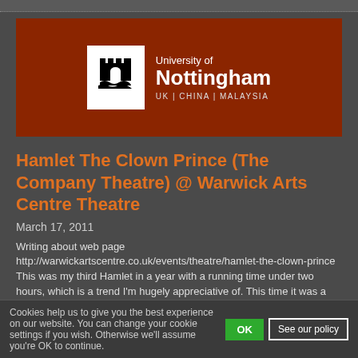[Figure (logo): University of Nottingham logo on dark red banner background. White square contains black castle/crest icon. Text reads 'University of Nottingham' with 'UK | CHINA | MALAYSIA' below.]
Hamlet The Clown Prince (The Company Theatre) @ Warwick Arts Centre Theatre
March 17, 2011
Writing about web page http://warwickartscentre.co.uk/events/theatre/hamlet-the-clown-prince This was my third Hamlet in a year with a running time under two hours, which is a trend I'm hugely appreciative of. This time it was a
Cookies help us to give you the best experience on our website. You can change your cookie settings if you wish. Otherwise we'll assume you're OK to continue.